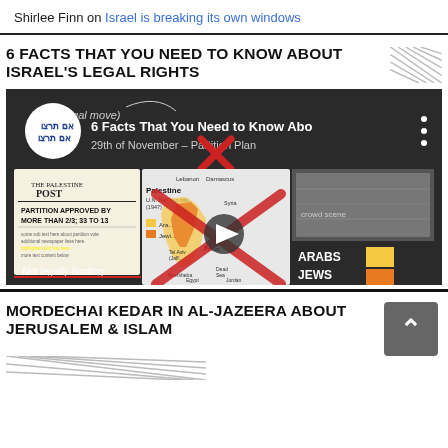Shirlee Finn on Israel is breaking its own windows
6 FACTS THAT YOU NEED TO KNOW ABOUT ISRAEL'S LEGAL RIGHTS
[Figure (screenshot): Video thumbnail showing '6 Facts That You Need to Know About' with chalkboard background, Palestine Post newspaper clipping, UN Partition map with red X mark, crowd photo, and legend showing Arabs (yellow) and Jews (orange) with text 'Not legally binding']
MORDECHAI KEDAR IN AL-JAZEERA ABOUT JERUSALEM & ISLAM